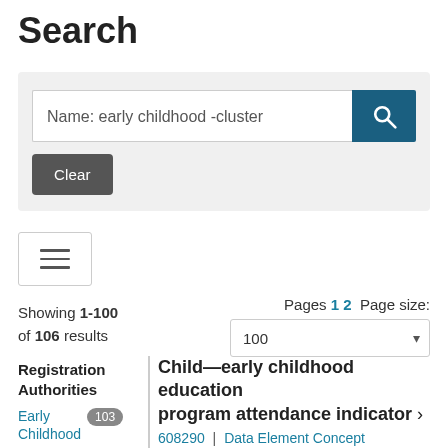Search
Name: early childhood -cluster
Clear
Showing 1-100 of 106 results
Pages 1 2  Page size: 100
Registration Authorities
Early Childhood  103
Child—early childhood education program attendance indicator >
608290 | Data Element Concept
An indicator of whether a child attended an early childhood education